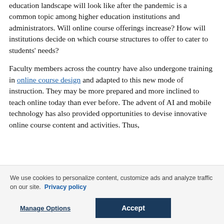education landscape will look like after the pandemic is a common topic among higher education institutions and administrators. Will online course offerings increase? How will institutions decide on which course structures to offer to cater to students' needs?
Faculty members across the country have also undergone training in online course design and adapted to this new mode of instruction. They may be more prepared and more inclined to teach online today than ever before. The advent of AI and mobile technology has also provided opportunities to devise innovative online course content and activities. Thus,
We use cookies to personalize content, customize ads and analyze traffic on our site. Privacy policy
Manage Options | Accept